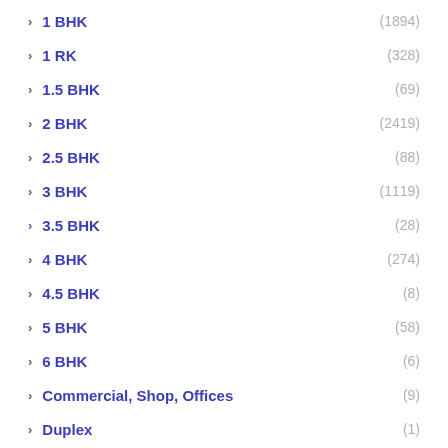> 1 BHK (1894)
> 1 RK (328)
> 1.5 BHK (69)
> 2 BHK (2419)
> 2.5 BHK (88)
> 3 BHK (1119)
> 3.5 BHK (28)
> 4 BHK (274)
> 4.5 BHK (8)
> 5 BHK (58)
> 6 BHK (6)
> Commercial, Shop, Offices (9)
> Duplex (1)